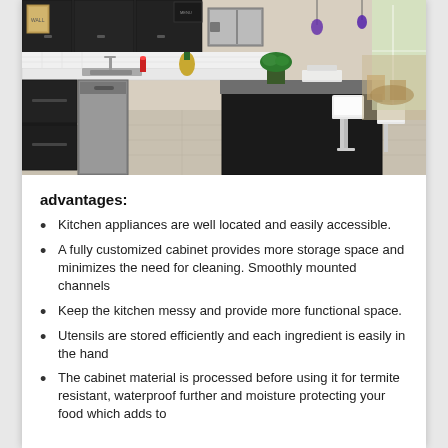[Figure (photo): Modern kitchen with dark cabinets, stainless steel appliances, a large island with white bar stools, pendant lights, and an open floor plan leading to a dining area with natural light.]
advantages:
Kitchen appliances are well located and easily accessible.
A fully customized cabinet provides more storage space and minimizes the need for cleaning. Smoothly mounted channels
Keep the kitchen messy and provide more functional space.
Utensils are stored efficiently and each ingredient is easily in the hand
The cabinet material is processed before using it for termite resistant, waterproof further and moisture protecting your food which adds to